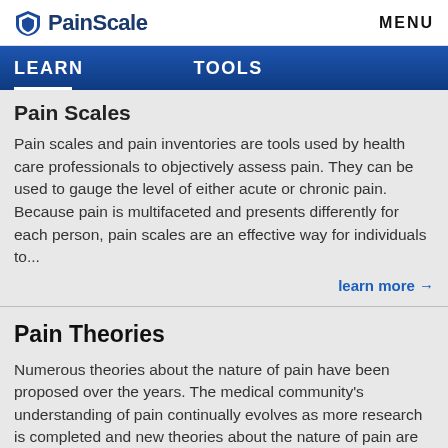PainScale — MENU
LEARN   TOOLS
Pain Scales
Pain scales and pain inventories are tools used by health care professionals to objectively assess pain. They can be used to gauge the level of either acute or chronic pain. Because pain is multifaceted and presents differently for each person, pain scales are an effective way for individuals to...
learn more →
Pain Theories
Numerous theories about the nature of pain have been proposed over the years. The medical community's understanding of pain continually evolves as more research is completed and new theories about the nature of pain are proposed.
learn more →